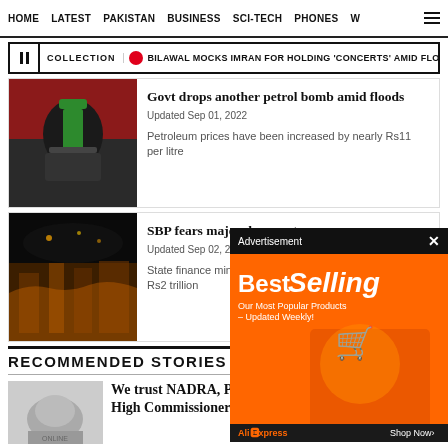HOME   LATEST   PAKISTAN   BUSINESS   SCI-TECH   PHONES   W
COLLECTION   BILAWAL MOCKS IMRAN FOR HOLDING 'CONCERTS' AMID FLOOD D
Govt drops another petrol bomb amid floods
Updated Sep 01, 2022
Petroleum prices have been increased by nearly Rs11 per litre
SBP fears major damage to economy
Updated Sep 02, 2022
State finance minis Rs2 trillion
[Figure (other): Advertisement banner - BestSelling, AliExpress]
RECOMMENDED STORIES
We trust NADRA, Pakistan's passport system: British High Commissioner